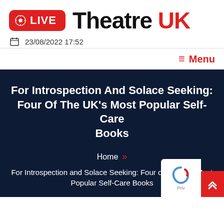[Figure (logo): Live Theatre UK logo with red LIVE badge and black/red Theatre UK text]
📅 23/08/2022 17:52
≡ Menu
For Introspection And Solace Seeking: Four Of The UK's Most Popular Self-Care Books
Home » For Introspection and Solace Seeking: Four of the UK's Most Popular Self-Care Books